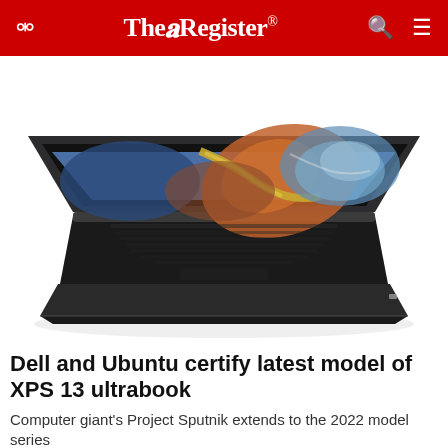The Register®
[Figure (photo): A Dell XPS 13 ultrabook laptop open at an angle showing a colorful abstract wallpaper on the screen, with a dark aluminum body and keyboard, photographed against a white background.]
Dell and Ubuntu certify latest model of XPS 13 ultrabook
Computer giant's Project Sputnik extends to the 2022 model series
COLUMNISTS    1 month | 19 💬